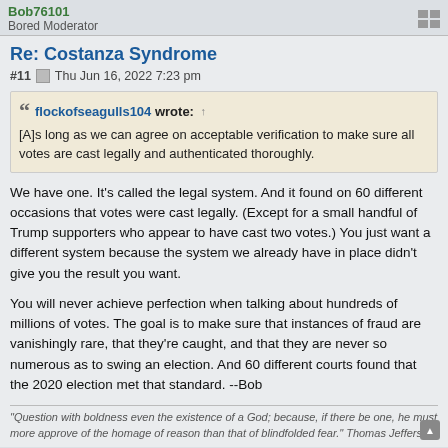Bob76101
Bored Moderator
Re: Costanza Syndrome
#11  Thu Jun 16, 2022 7:23 pm
flockofseagulls104 wrote: ↑
[A]s long as we can agree on acceptable verification to make sure all votes are cast legally and authenticated thoroughly.
We have one. It's called the legal system. And it found on 60 different occasions that votes were cast legally. (Except for a small handful of Trump supporters who appear to have cast two votes.) You just want a different system because the system we already have in place didn't give you the result you want.
You will never achieve perfection when talking about hundreds of millions of votes. The goal is to make sure that instances of fraud are vanishingly rare, that they're caught, and that they are never so numerous as to swing an election. And 60 different courts found that the 2020 election met that standard. --Bob
"Question with boldness even the existence of a God; because, if there be one, he must more approve of the homage of reason than that of blindfolded fear." Thomas Jefferson